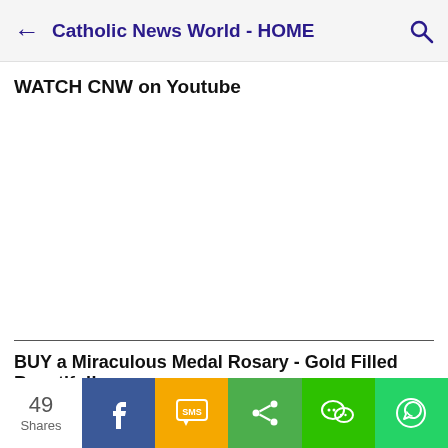Catholic News World - HOME
WATCH CNW on Youtube
BUY a Miraculous Medal Rosary - Gold Filled Beautiful!
49 Shares